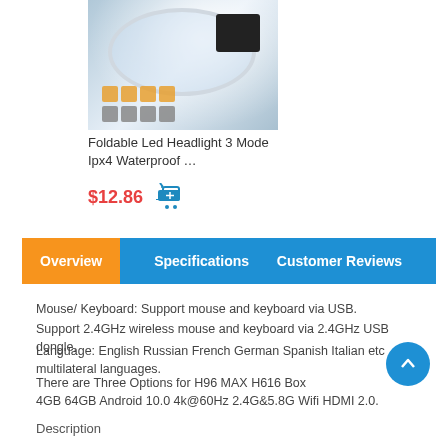[Figure (photo): Product photo of a Foldable LED Headlight showing the headlamp device and feature icons]
Foldable Led Headlight 3 Mode Ipx4 Waterproof …
$12.86
Overview  Specifications  Customer Reviews
Mouse/ Keyboard: Support mouse and keyboard via USB.
Support 2.4GHz wireless mouse and keyboard via 2.4GHz USB dongle.
Language: English Russian French German Spanish Italian etc multilateral languages.
There are Three Options for H96 MAX H616 Box
4GB 64GB Android 10.0 4k@60Hz 2.4G&5.8G Wifi HDMI 2.0.
Description